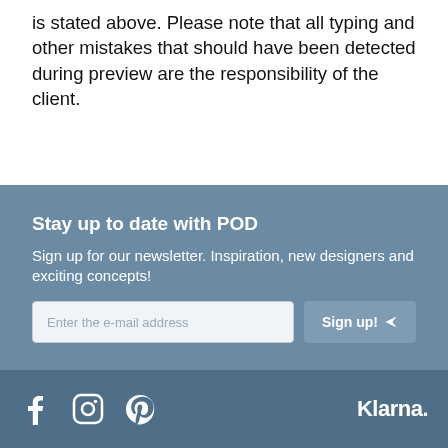is stated above. Please note that all typing and other mistakes that should have been detected during preview are the responsibility of the client.
Stay up to date with POD
Sign up for our newsletter. Inspiration, new designers and exciting concepts!
Enter the e-mail address
Sign up!
[Figure (infographic): Footer bar with Facebook, Instagram, Pinterest social icons on the left, and Klarna. payment logo on the right, white icons on dark blue-grey background]